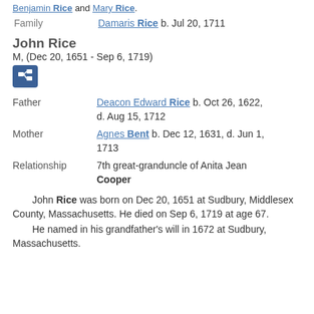Benjamin Rice and Mary Rice.
Family   Damaris Rice b. Jul 20, 1711
John Rice
M, (Dec 20, 1651 - Sep 6, 1719)
Father   Deacon Edward Rice b. Oct 26, 1622, d. Aug 15, 1712
Mother   Agnes Bent b. Dec 12, 1631, d. Jun 1, 1713
Relationship   7th great-granduncle of Anita Jean Cooper
John Rice was born on Dec 20, 1651 at Sudbury, Middlesex County, Massachusetts. He died on Sep 6, 1719 at age 67.
He named in his grandfather's will in 1672 at Sudbury, Massachusetts.